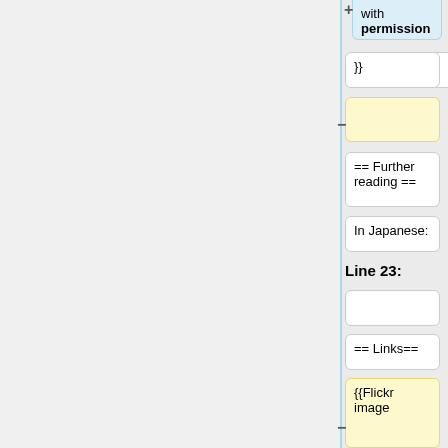with permission
}}
}}
== Further reading ==
== Further reading ==
In Japanese:
In Japanese:
Line 23:
Line 33:
== Links==
== Links==
{{Flickr image
* [http://www.butkus.org/chinon/canon/canon_ii_d_iv_s2/canon_ii_d_iv_s2.htm Canon II/D/IV/S User Manual] at